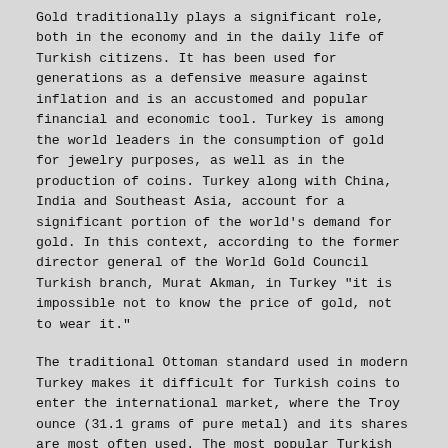Gold traditionally plays a significant role, both in the economy and in the daily life of Turkish citizens. It has been used for generations as a defensive measure against inflation and is an accustomed and popular financial and economic tool. Turkey is among the world leaders in the consumption of gold for jewelry purposes, as well as in the production of coins. Turkey along with China, India and Southeast Asia, account for a significant portion of the world's demand for gold. In this context, according to the former director general of the World Gold Council Turkish branch, Murat Akman, in Turkey "it is impossible not to know the price of gold, not to wear it."
The traditional Ottoman standard used in modern Turkey makes it difficult for Turkish coins to enter the international market, where the Troy ounce (31.1 grams of pure metal) and its shares are most often used. The most popular Turkish gold coin is the "ziynet". It is equipped with "ears" for use as jewellery in pendants, monisto, bracelets, etc. Small editions of commemorative collection coins of proven quality are also regularly minted (coins of the highest standard and minting quality, inconvenient for active use in economic life).